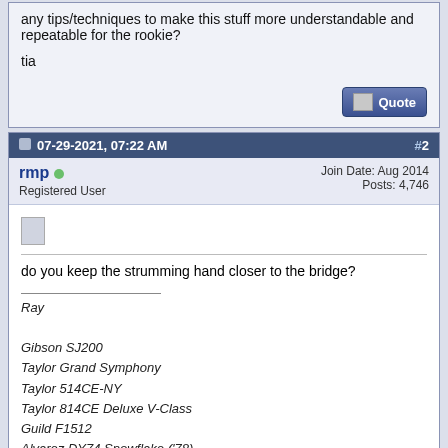any tips/techniques to make this stuff more understandable and repeatable for the rookie?

tia
07-29-2021, 07:22 AM  #2
rmp
Registered User
Join Date: Aug 2014
Posts: 4,746
do you keep the strumming hand closer to the bridge?
Ray

Gibson SJ200
Taylor Grand Symphony
Taylor 514CE-NY
Taylor 814CE Deluxe V-Class
Guild F1512
Alvarez DY74 Snowflake ('78)
07-29-2021, 07:33 AM  #3